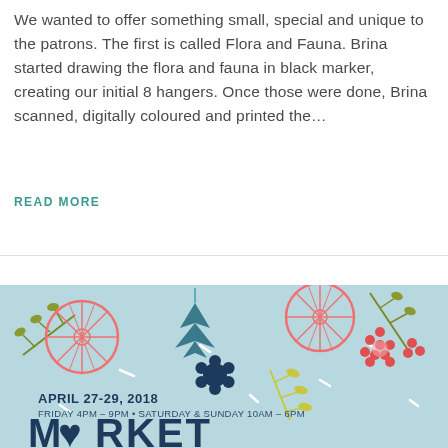We wanted to offer something small, special and unique to the patrons. The first is called Flora and Fauna. Brina started drawing the flora and fauna in black marker, creating our initial 8 hangers. Once those were done, Brina scanned, digitally coloured and printed the...
READ MORE
[Figure (illustration): Market event poster with light blue background featuring illustrated flora elements (branches, berries, citrus slices, flowers, leaves) in navy, olive, coral/pink, and yellow. Text reads APRIL 27-29, 2018, FRIDAY 4PM - 9PM • SATURDAY & SUNDAY 10AM - 6PM, MARKET]